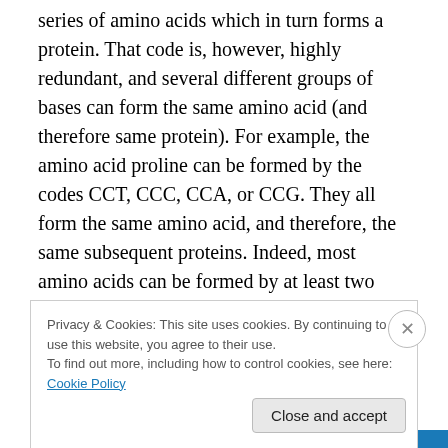series of amino acids which in turn forms a protein. That code is, however, highly redundant, and several different groups of bases can form the same amino acid (and therefore same protein). For example, the amino acid proline can be formed by the codes CCT, CCC, CCA, or CCG. They all form the same amino acid, and therefore, the same subsequent proteins. Indeed, most amino acids can be formed by at least two different sets of bases. Therefore, because proteins are formed from strings of numerous amino acids, you can have tons of organism all producing the same protein, but doing so via different
Privacy & Cookies: This site uses cookies. By continuing to use this website, you agree to their use.
To find out more, including how to control cookies, see here: Cookie Policy